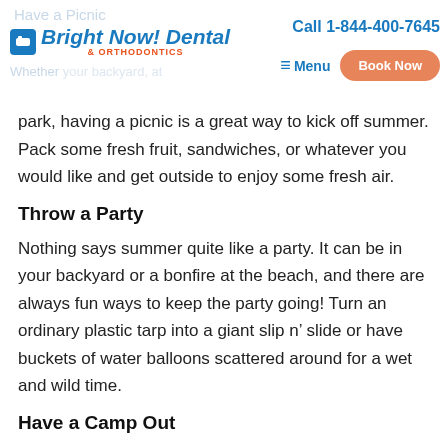Have a Picnic | Bright Now! Dental & Orthodontics | Call 1-844-400-7645 | Menu | Book Now
park, having a picnic is a great way to kick off summer. Pack some fresh fruit, sandwiches, or whatever you would like and get outside to enjoy some fresh air.
Throw a Party
Nothing says summer quite like a party. It can be in your backyard or a bonfire at the beach, and there are always fun ways to keep the party going! Turn an ordinary plastic tarp into a giant slip n’ slide or have buckets of water balloons scattered around for a wet and wild time.
Have a Camp Out